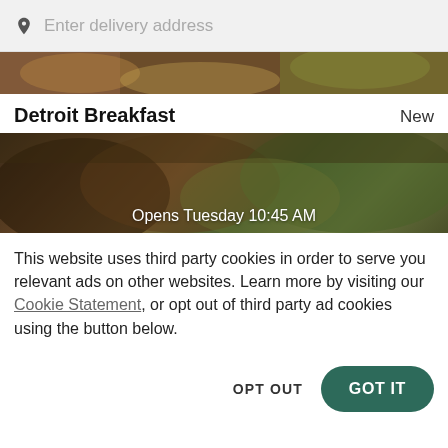[Figure (screenshot): Search bar with location pin icon and placeholder text 'Enter delivery address' on light grey background]
[Figure (photo): Top portion of a food image showing prepared dishes, partially cropped]
Detroit Breakfast
New
[Figure (photo): Food image showing prepared meal in containers, with overlay text 'Opens Tuesday 10:45 AM']
This website uses third party cookies in order to serve you relevant ads on other websites. Learn more by visiting our Cookie Statement, or opt out of third party ad cookies using the button below.
OPT OUT
GOT IT